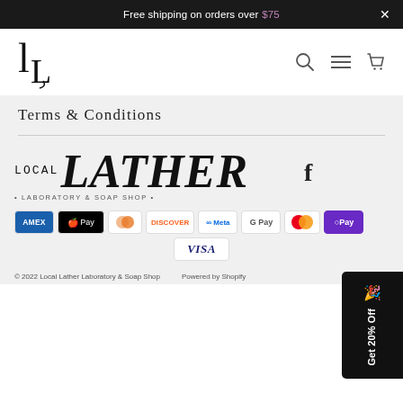Free shipping on orders over $75  ×
[Figure (logo): Local Lather Laboratory & Soap Shop logo with LL monogram in header navigation]
Terms & Conditions
[Figure (logo): Local Lather Laboratory & Soap Shop full logo with decorative serif text]
[Figure (logo): Payment method badges: AMEX, Apple Pay, Diners Club, Discover, Meta, Google Pay, Mastercard, OPay, Visa]
© 2022 Local Lather Laboratory & Soap Shop    Powered by Shopify